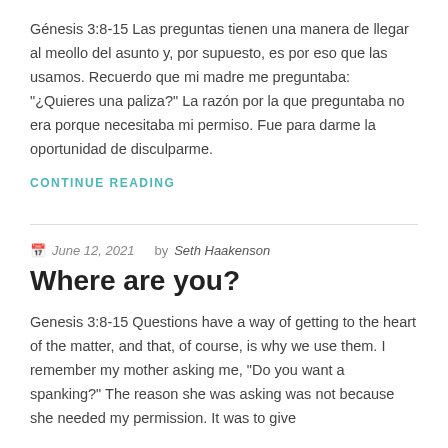Génesis 3:8-15 Las preguntas tienen una manera de llegar al meollo del asunto y, por supuesto, es por eso que las usamos. Recuerdo que mi madre me preguntaba: “¿Quieres una paliza?” La razón por la que preguntaba no era porque necesitaba mi permiso. Fue para darme la oportunidad de disculparme.
CONTINUE READING
June 12, 2021  by Seth Haakenson
Where are you?
Genesis 3:8-15 Questions have a way of getting to the heart of the matter, and that, of course, is why we use them. I remember my mother asking me, “Do you want a spanking?” The reason she was asking was not because she needed my permission. It was to give
CONTINUE READING